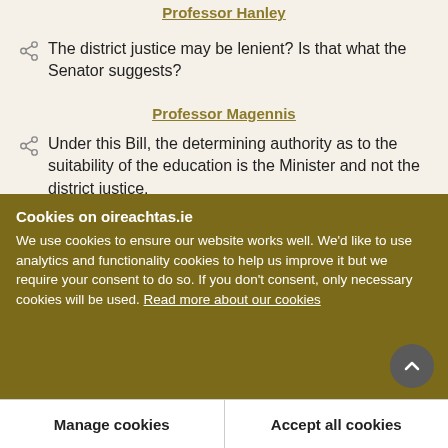Professor Hanley
The district justice may be lenient? Is that what the Senator suggests?
Professor Magennis
Under this Bill, the determining authority as to the suitability of the education is the Minister and not the district justice.
Cookies on oireachtas.ie
We use cookies to ensure our website works well. We'd like to use analytics and functionality cookies to help us improve it but we require your consent to do so. If you don't consent, only necessary cookies will be used. Read more about our cookies
Manage cookies
Accept all cookies